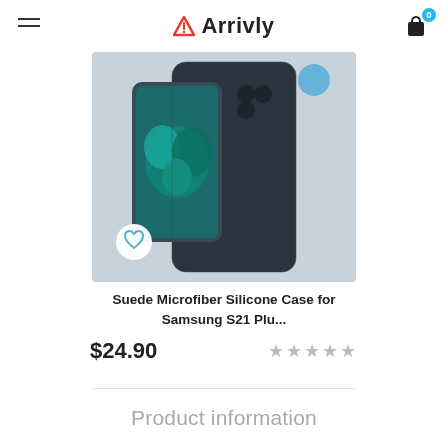Arrivly
[Figure (photo): Product photo of a dark navy/charcoal suede microfiber silicone case for Samsung S21 Plus, shown with a phone displaying a floral image, dark case back visible, with a wishlist heart button and a blue circular badge in corner]
Suede Microfiber Silicone Case for Samsung S21 Plu...
$24.90
★★★★★
Product information